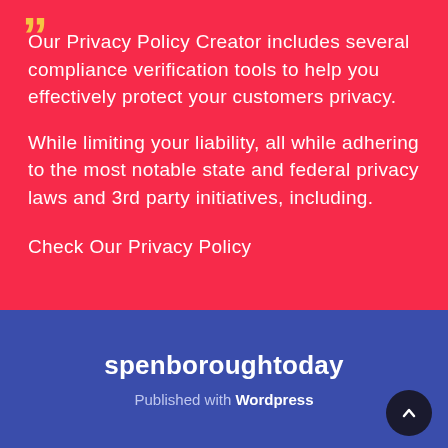Our Privacy Policy Creator includes several compliance verification tools to help you effectively protect your customers privacy.
While limiting your liability, all while adhering to the most notable state and federal privacy laws and 3rd party initiatives, including.
Check Our Privacy Policy
spenboroughtoday
Published with Wordpress